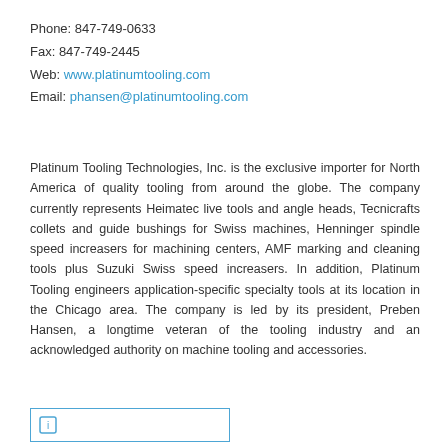Phone:  847-749-0633
Fax:  847-749-2445
Web:  www.platinumtooling.com
Email:  phansen@platinumtooling.com
Platinum Tooling Technologies, Inc. is the exclusive importer for North America of quality tooling from around the globe.  The company currently represents Heimatec live tools and angle heads, Tecnicrafts collets and guide bushings for Swiss machines, Henninger spindle speed increasers for machining centers, AMF marking and cleaning tools plus Suzuki Swiss speed increasers.   In addition, Platinum Tooling engineers application-specific specialty tools at its location in the Chicago area.  The company is led by its president, Preben Hansen, a longtime veteran of the tooling industry and an acknowledged authority on machine tooling and accessories.
[Figure (other): Partial view of a boxed element with a blue border at the bottom of the page, containing an icon and partially visible text]